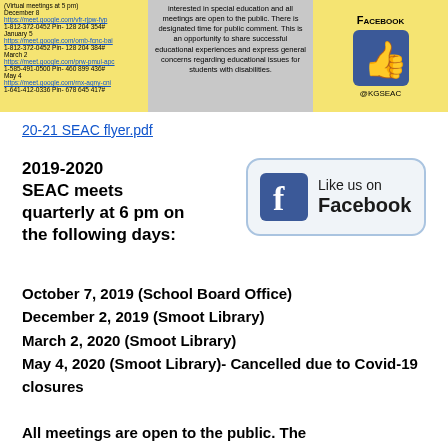[Figure (infographic): Three-panel banner: left panel (yellow) with virtual meeting dates and Google Meet links for December 8, January 5, March 2, May 4; middle panel (gray) with text about special education public meetings; right panel (yellow) with Facebook logo thumbs-up and @KGSEAC handle.]
20-21 SEAC flyer.pdf
2019-2020 SEAC meets quarterly at 6 pm on the following days:
[Figure (logo): Facebook 'Like us on Facebook' button with blue Facebook icon and text.]
October 7, 2019 (School Board Office)
December 2, 2019 (Smoot Library)
March 2, 2020 (Smoot Library)
May 4, 2020 (Smoot Library)- Cancelled due to Covid-19 closures
All meetings are open to the public. The